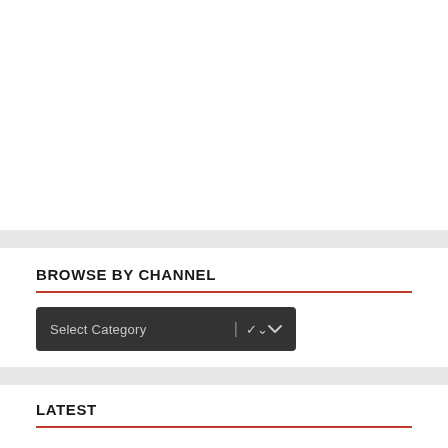BROWSE BY CHANNEL
[Figure (screenshot): Dark gray dropdown box with placeholder text 'Select Category' and a vertical bar separator followed by a chevron/arrow icon]
LATEST